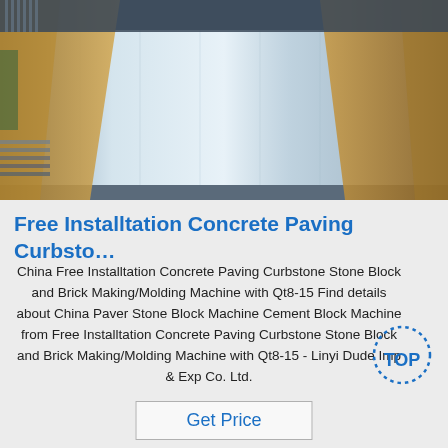[Figure (photo): Industrial metal sheets (possibly stainless steel or aluminum) stacked and wrapped in brown protective paper packaging, photographed from above/side angle in a factory setting.]
Free Installtation Concrete Paving Curbsto…
China Free Installtation Concrete Paving Curbstone Stone Block and Brick Making/Molding Machine with Qt8-15 Find details about China Paver Stone Block Machine Cement Block Machine from Free Installtation Concrete Paving Curbstone Stone Block and Brick Making/Molding Machine with Qt8-15 - Linyi Dude Imp & Exp Co. Ltd.
[Figure (logo): Blue dotted circular 'TOP' logo badge]
Get Price